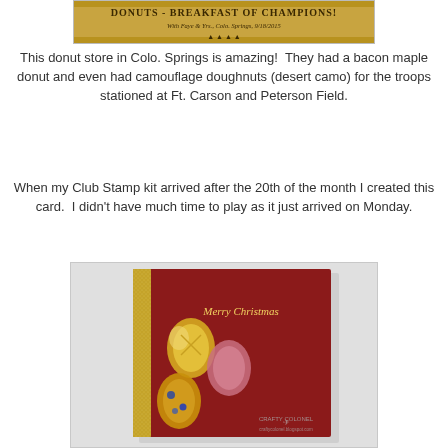[Figure (photo): Partial view of a donut store sign reading 'DONUTS - BREAKFAST OF CHAMPIONS' with text mentioning Colo. Springs date 9/18/2015]
This donut store in Colo. Springs is amazing!  They had a bacon maple donut and even had camouflage doughnuts (desert camo) for the troops stationed at Ft. Carson and Peterson Field.
When my Club Stamp kit arrived after the 20th of the month I created this card.  I didn't have much time to play as it just arrived on Monday.
[Figure (photo): A handmade Christmas card with a red background, decorative ornament shapes in gold and jewel tones, and 'Merry Christmas' in gold script. Watermark: Crafty Colonel.]